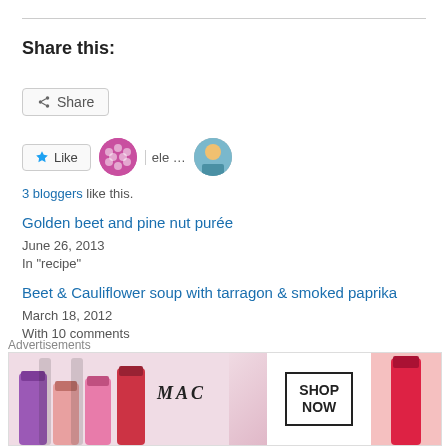Share this:
[Figure (screenshot): Share button widget with share icon]
[Figure (screenshot): Like button with star icon and 3 blogger avatars]
3 bloggers like this.
Golden beet and pine nut purée
June 26, 2013
In "recipe"
Beet & Cauliflower soup with tarragon & smoked paprika
March 18, 2012
With 10 comments
Roasted beet and arugula salad with farro and smoky pecan-
Advertisements
[Figure (photo): MAC cosmetics advertisement showing lipsticks with SHOP NOW button]